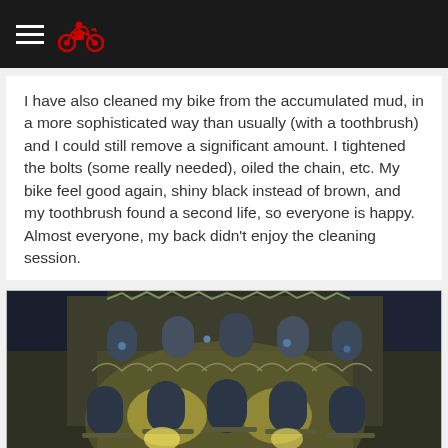[hamburger menu icon] [motorcycle icon]
I have also cleaned my bike from the accumulated mud, in a more sophisticated way than usually (with a toothbrush) and I could still remove a significant amount. I tightened the bolts (some really needed), oiled the chain, etc. My bike feel good again, shiny black instead of brown, and my toothbrush found a second life, so everyone is happy. Almost everyone, my back didn't enjoy the cleaning session.
[Figure (photo): Night photograph looking up at an ornate Gaudí building (Casa Batlló) in Barcelona, illuminated with yellow-green lights, showing the distinctive organic mosaic facade with arched windows, balconies, and sculptural stone elements.]